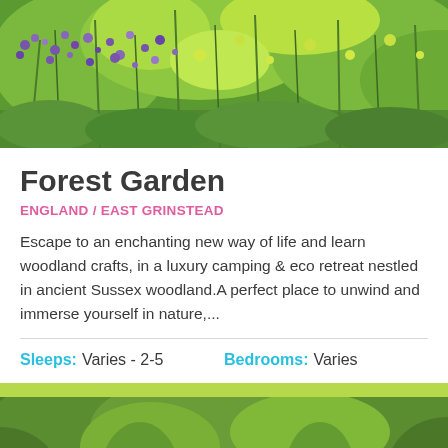[Figure (photo): Wildflower meadow with purple and yellow-green flowers and tall grasses]
Forest Garden
ENGLAND / EAST GRINSTEAD
Escape to an enchanting new way of life and learn woodland crafts, in a luxury camping & eco retreat nestled in ancient Sussex woodland.A perfect place to unwind and immerse yourself in nature,...
Sleeps: Varies - 2-5    Bedrooms: Varies
[Figure (photo): Rustic wooden cabin with corrugated metal roof surrounded by green trees and flowering shrubs]